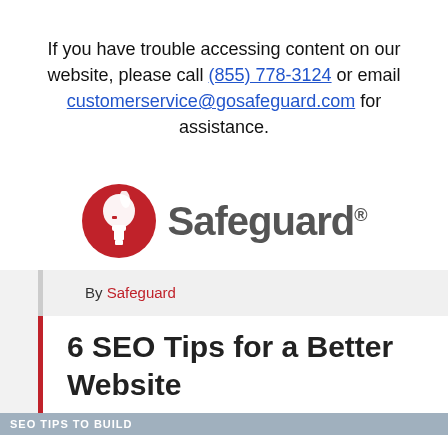If you have trouble accessing content on our website, please call (855) 778-3124 or email customerservice@gosafeguard.com for assistance.
[Figure (logo): Safeguard logo with red circular Spartan helmet icon and grey 'Safeguard' wordmark with registered trademark symbol]
By Safeguard
6 SEO Tips for a Better Website
SEO TIPS TO BUILD